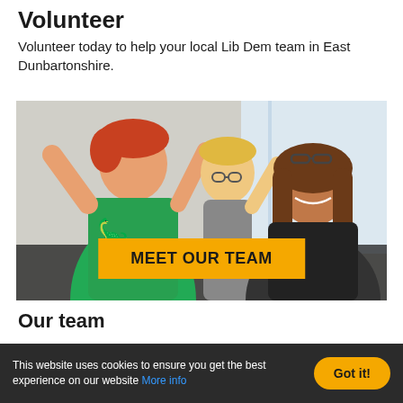Volunteer
Volunteer today to help your local Lib Dem team in East Dunbartonshire.
[Figure (photo): A group of smiling people including a young boy in a green dinosaur t-shirt with arms raised in celebration, a child with glasses behind him, and a woman with long brown hair and glasses on her head, all appearing happy. A yellow banner overlay reads 'MEET OUR TEAM' in bold black uppercase text.]
Our team
This website uses cookies to ensure you get the best experience on our website More info